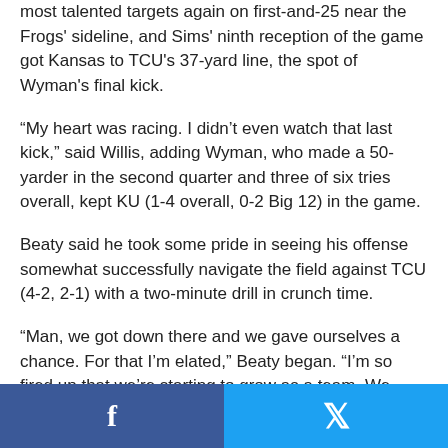most talented targets again on first-and-25 near the Frogs' sideline, and Sims' ninth reception of the game got Kansas to TCU's 37-yard line, the spot of Wyman's final kick.
“My heart was racing. I didn’t even watch that last kick,” said Willis, adding Wyman, who made a 50-yarder in the second quarter and three of six tries overall, kept KU (1-4 overall, 0-2 Big 12) in the game.
Beaty said he took some pride in seeing his offense somewhat successfully navigate the field against TCU (4-2, 2-1) with a two-minute drill in crunch time.
“Man, we got down there and we gave ourselves a chance. For that I’m elated,” Beaty began. “I’m so fired up that we’re starting to grow as a team. We gave ourselves a chance to win. But, man, I am burning inside with the fact that we weren’t able to get the win, because I feel like we gave it
Facebook | Twitter